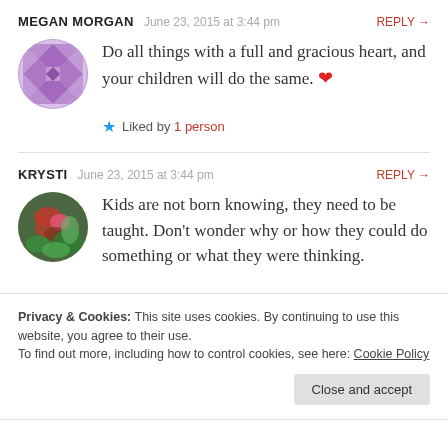MEGAN MORGAN   June 23, 2015 at 3:44 pm   REPLY →
Do all things with a full and gracious heart, and your children will do the same. ❤
★ Liked by 1 person
KRYSTI   June 23, 2015 at 3:44 pm   REPLY →
Kids are not born knowing, they need to be taught. Don't wonder why or how they could do something or what they were thinking.
Privacy & Cookies: This site uses cookies. By continuing to use this website, you agree to their use. To find out more, including how to control cookies, see here: Cookie Policy